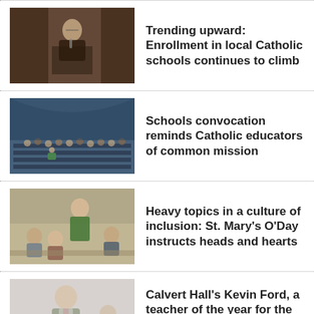[Figure (photo): Woman at podium speaking]
Trending upward: Enrollment in local Catholic schools continues to climb
[Figure (photo): Crowded church pews with people]
Schools convocation reminds Catholic educators of common mission
[Figure (photo): Woman instructor with students]
Heavy topics in a culture of inclusion: St. Mary's O'Day instructs heads and hearts
[Figure (photo): Man in suit holding something]
Calvert Hall's Kevin Ford, a teacher of the year for the Archdiocese of Baltimore, loves his job